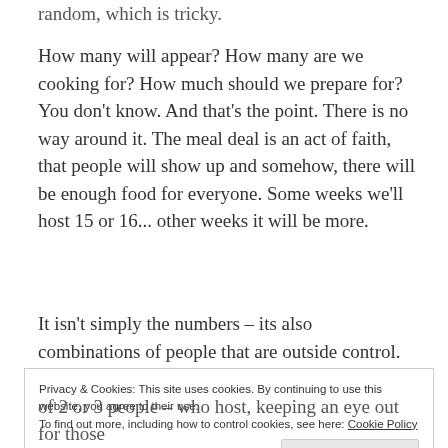random, which is tricky.
How many will appear? How many are we cooking for? How much should we prepare for? You don't know. And that's the point. There is no way around it. The meal deal is an act of faith, that people will show up and somehow, there will be enough food for everyone. Some weeks we'll host 15 or 16... other weeks it will be more.
It isn't simply the numbers – its also combinations of people that are outside control.
Privacy & Cookies: This site uses cookies. By continuing to use this website, you agree to their use.
To find out more, including how to control cookies, see here: Cookie Policy
of 2 or 3 people – who host, keeping an eye out for those